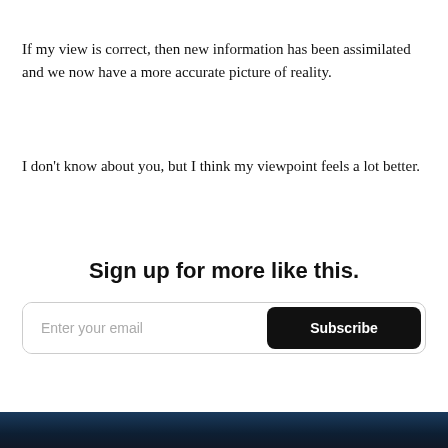If my view is correct, then new information has been assimilated and we now have a more accurate picture of reality.
I don't know about you, but I think my viewpoint feels a lot better.
Sign up for more like this.
[Figure (other): Email subscription form with 'Enter your email' placeholder input and a black 'Subscribe' button]
[Figure (photo): Partial image strip at the bottom of the page showing a dark blue/black scene]